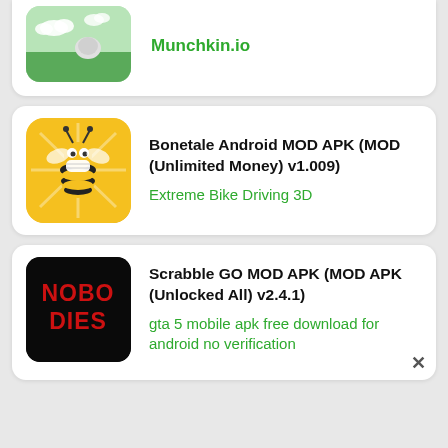[Figure (screenshot): App listing card (partial) showing Munchkin.io game icon (green landscape with clouds) and green link text 'Munchkin.io']
[Figure (screenshot): App listing card showing a bee with mask icon on orange/yellow background for 'Bonetale Android MOD APK (MOD (Unlimited Money) v1.009)' with green link 'Extreme Bike Driving 3D']
[Figure (screenshot): App listing card showing 'NOBODIES' text logo on black background for 'Scrabble GO MOD APK (MOD APK (Unlocked All) v2.4.1)' with green link 'gta 5 mobile apk free download for android no verification']